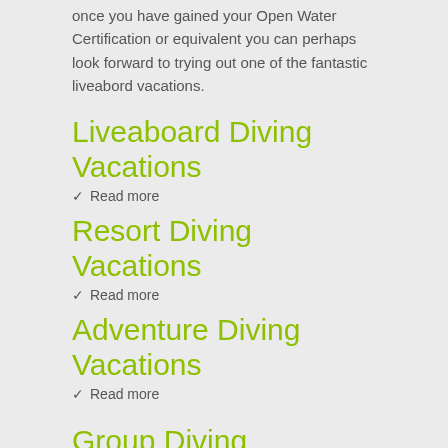once you have gained your Open Water Certification or equivalent you can perhaps look forward to trying out one of the fantastic liveabord vacations.
Liveaboard Diving Vacations
Read more
Resort Diving Vacations
Read more
Adventure Diving Vacations
Read more
Group Diving Vacations
Read more
Family Diving Vacations